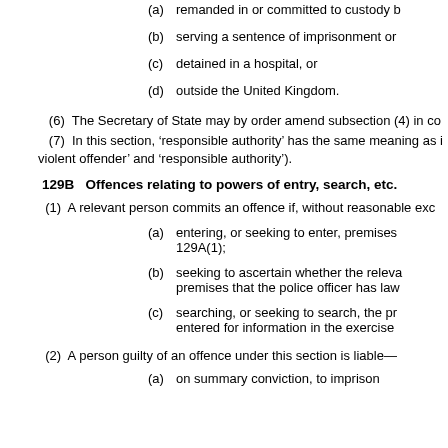(a) remanded in or committed to custody b
(b) serving a sentence of imprisonment or
(c) detained in a hospital, or
(d) outside the United Kingdom.
(6) The Secretary of State may by order amend subsection (4) in co
(7) In this section, 'responsible authority' has the same meaning as i violent offender' and 'responsible authority').
129B Offences relating to powers of entry, search, etc.
(1) A relevant person commits an offence if, without reasonable exc
(a) entering, or seeking to enter, premises 129A(1);
(b) seeking to ascertain whether the rele premises that the police officer has law
(c) searching, or seeking to search, the p entered for information in the exercise
(2) A person guilty of an offence under this section is liable—
(a) on summary conviction, to imprison